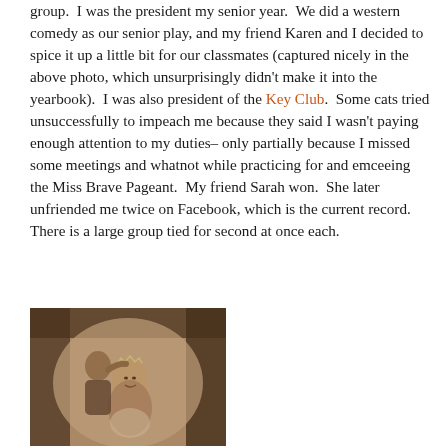group.  I was the president my senior year.  We did a western comedy as our senior play, and my friend Karen and I decided to spice it up a little bit for our classmates (captured nicely in the above photo, which unsurprisingly didn't make it into the yearbook).  I was also president of the Key Club.  Some cats tried unsuccessfully to impeach me because they said I wasn't paying enough attention to my duties– only partially because I missed some meetings and whatnot while practicing for and emceeing the Miss Brave Pageant.  My friend Sarah won.  She later unfriended me twice on Facebook, which is the current record.  There is a large group tied for second at once each.
[Figure (photo): Sepia-toned photograph of a woman being crowned at what appears to be a pageant, wearing a tiara, smiling, with a person placing or adjusting the crown on her head, dark curtain background]